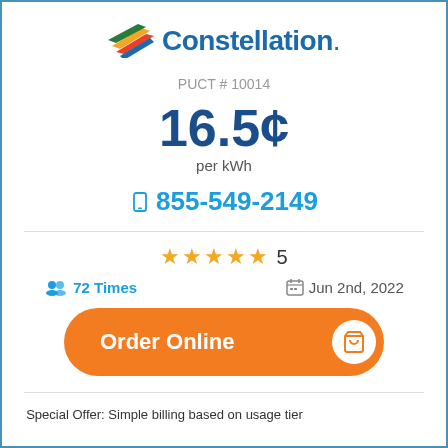[Figure (logo): Constellation energy company logo with multicolor flag icon and blue Constellation. text]
PUCT # 10014
16.5¢ per kWh
📱 855-549-2149
★★★★★ 5
72 Times
Jun 2nd, 2022
Order Online
Special Offer: Simple billing based on usage tier